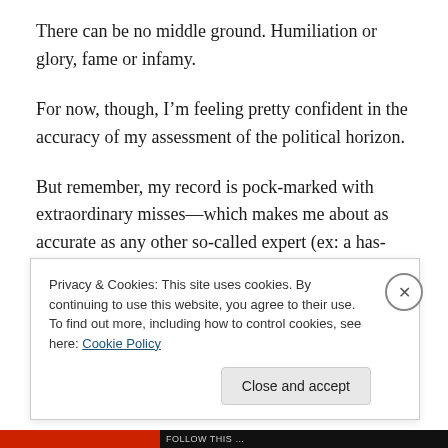There can be no middle ground. Humiliation or glory, fame or infamy.
For now, though, I’m feeling pretty confident in the accuracy of my assessment of the political horizon.
But remember, my record is pock-marked with extraordinary misses—which makes me about as accurate as any other so-called expert (ex: a has-been; spurt: a drip under pressure).
Privacy & Cookies: This site uses cookies. By continuing to use this website, you agree to their use.
To find out more, including how to control cookies, see here: Cookie Policy